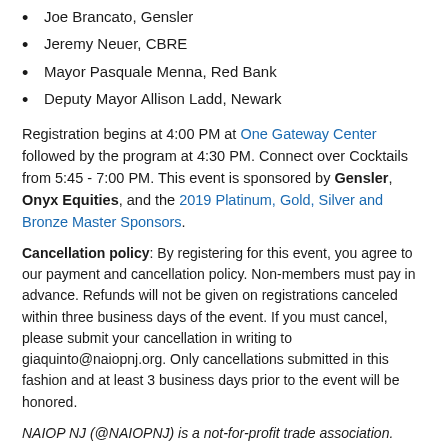Joe Brancato, Gensler
Jeremy Neuer, CBRE
Mayor Pasquale Menna, Red Bank
Deputy Mayor Allison Ladd, Newark
Registration begins at 4:00 PM at One Gateway Center followed by the program at 4:30 PM. Connect over Cocktails from 5:45 - 7:00 PM. This event is sponsored by Gensler, Onyx Equities, and the 2019 Platinum, Gold, Silver and Bronze Master Sponsors.
Cancellation policy: By registering for this event, you agree to our payment and cancellation policy. Non-members must pay in advance. Refunds will not be given on registrations canceled within three business days of the event. If you must cancel, please submit your cancellation in writing to giaquinto@naiopnj.org. Only cancellations submitted in this fashion and at least 3 business days prior to the event will be honored.
NAIOP NJ (@NAIOPNJ) is a not-for-profit trade association. Every dollar you invest with NAIOP NJ supports the promotion and